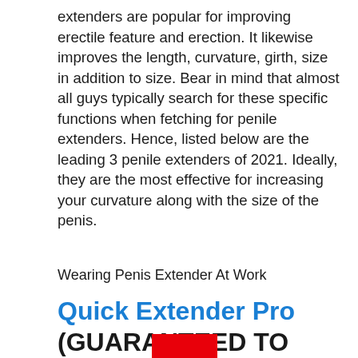extenders are popular for improving erectile feature and erection. It likewise improves the length, curvature, girth, size in addition to size. Bear in mind that almost all guys typically search for these specific functions when fetching for penile extenders. Hence, listed below are the leading 3 penile extenders of 2021. Ideally, they are the most effective for increasing your curvature along with the size of the penis.
Wearing Penis Extender At Work
Quick Extender Pro (GUARANTEED TO ADD 3 INCHES)
[Figure (other): Red rectangle partially visible at bottom of page]